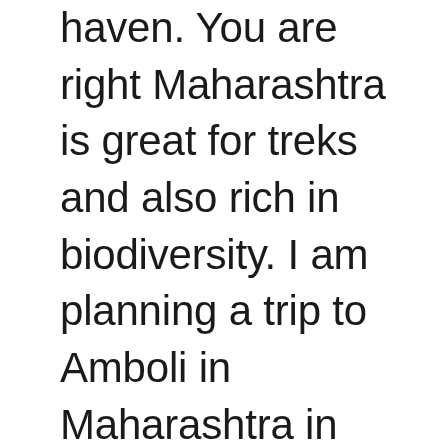haven. You are right Maharashtra is great for treks and also rich in biodiversity. I am planning a trip to Amboli in Maharashtra in coming months. Maybe I will club Chandoli as well.